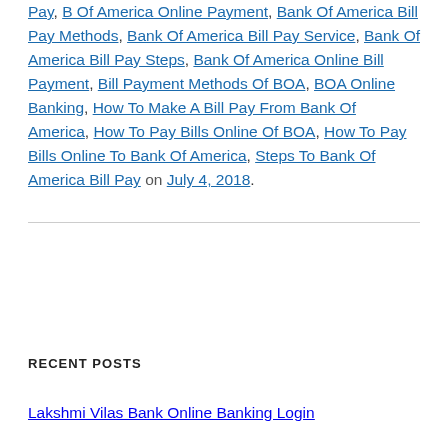Pay, B Of America Online Payment, Bank Of America Bill Pay Methods, Bank Of America Bill Pay Service, Bank Of America Bill Pay Steps, Bank Of America Online Bill Payment, Bill Payment Methods Of BOA, BOA Online Banking, How To Make A Bill Pay From Bank Of America, How To Pay Bills Online Of BOA, How To Pay Bills Online To Bank Of America, Steps To Bank Of America Bill Pay on July 4, 2018.
RECENT POSTS
Lakshmi Vilas Bank Online Banking Login